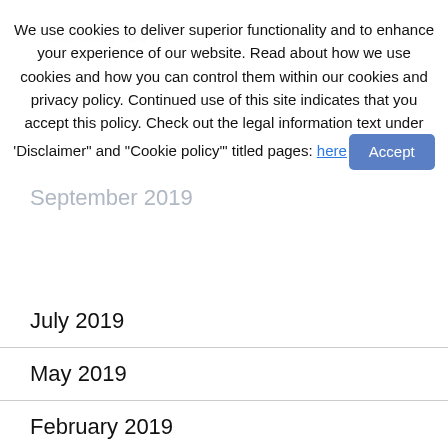We use cookies to deliver superior functionality and to enhance your experience of our website. Read about how we use cookies and how you can control them within our cookies and privacy policy. Continued use of this site indicates that you accept this policy. Check out the legal information text under 'Disclaimer" and "Cookie policy" titled pages: here [Accept]
July 2019
May 2019
February 2019
December 2018
November 2018
October 2018
August 2018
July 2018